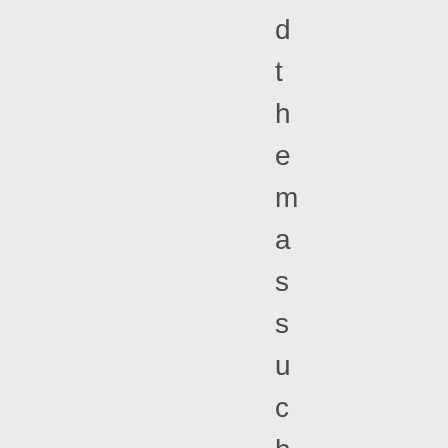d t h e m a s s u c h . * R e a